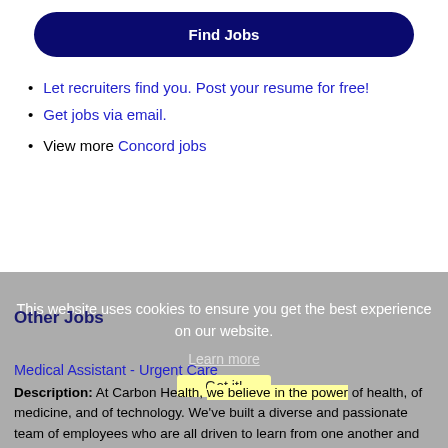Find Jobs
Let recruiters find you. Post your resume for free!
Get jobs via email.
View more Concord jobs
This website uses cookies to ensure you get the best experience on our website.
Learn more
Got it!
Other Jobs
Medical Assistant - Urgent Care
Description: At Carbon Health, we believe in the power of health, of medicine, and of technology. We've built a diverse and passionate team of employees who are all driven to learn from one another and reach Carbon (more...)